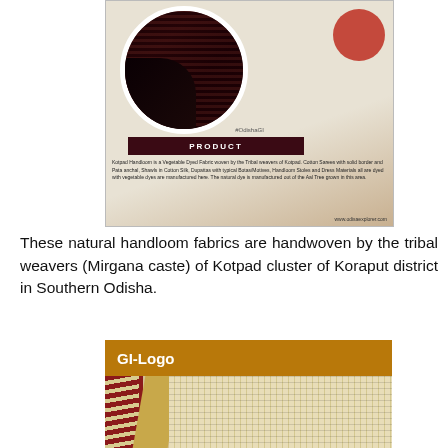[Figure (photo): Product card showing Kotpad handloom fabric with a circular zoomed-in view of dark maroon/black woven textile, a red circular accent, hashtag #OdishaGI, a dark maroon PRODUCT banner, description text about Kotpad Handloom being a Vegetable Dyed Fabric woven by tribal weavers, and website URL www.odisaexplorer.com]
These natural handloom fabrics are handwoven by the tribal weavers (Mirgana caste) of Kotpad cluster of Koraput district in Southern Odisha.
[Figure (photo): GI-Logo section with golden/tan background header labeled 'GI-Logo' and below it a photo of Kotpad handloom textile fabric showing diagonal red, cream/beige, and patterned stripes]